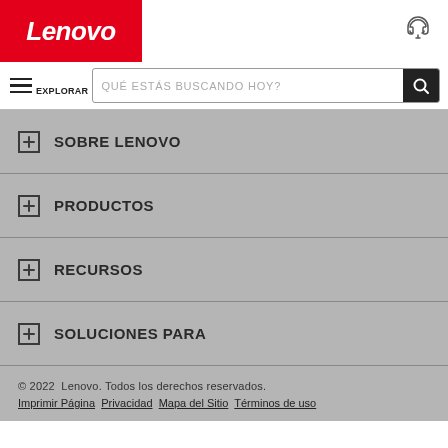[Figure (logo): Lenovo logo — white italic text on red background]
[Figure (illustration): Headset/support icon in top right corner]
QUÉ ESTÁS BUSCANDO HOY?
EXPLORAR
+ SOBRE LENOVO
+ PRODUCTOS
+ RECURSOS
+ SOLUCIONES PARA
© 2022  Lenovo. Todos los derechos reservados.
Imprimir Página  Privacidad  Mapa del Sitio  Términos de uso